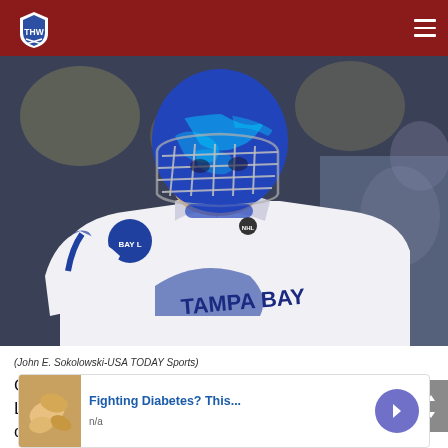THW - The Hockey Writers
[Figure (photo): Tampa Bay Lightning goalie wearing blue patterned mask and white Tampa Bay jersey, leaning forward on the ice. Photo credit: John E. Sokolowski-USA TODAY Sports.]
(John E. Sokolowski-USA TODAY Sports)
Going into their second round series against the Lightning on Friday night at the Bell Centre, the Habs once again find
[Figure (screenshot): Advertisement banner: 'Fighting Diabetes? This...' with an image of cashews on the left and a purple arrow button on the right. Text: n/a]